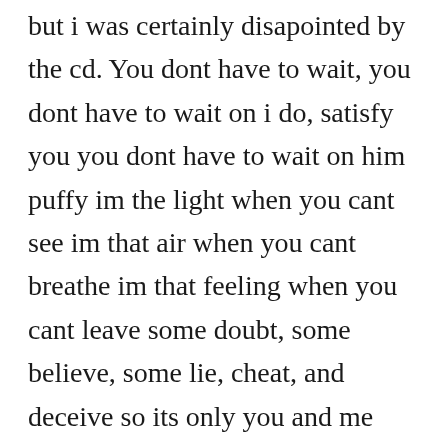but i was certainly disapointed by the cd. You dont have to wait, you dont have to wait on i do, satisfy you you dont have to wait on him puffy im the light when you cant see im that air when you cant breathe im that feeling when you cant leave some doubt, some believe, some lie, cheat, and deceive so its only you and me when you weak, ill make you strong, heres where. Theres no denying diddys uncanny knack for success. Provided to youtube by rhino atlantic satisfy you west coast remix puff daddy satisfy you. Puff daddy lyrics find all lyrics for songs such as i